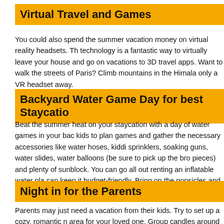Virtual Travel and Games
You could also spend the summer vacation money on virtual reality headsets. Th technology is a fantastic way to virtually leave your house and go on vacations to 3D travel apps. Want to walk the streets of Paris? Climb mountains in the Himal only a VR headset away.
Backyard Water Game Day for best Staycatio
Beat the summer heat on your staycation with a day of water games in your bac kids to plan games and gather the necessary accessories like water hoses, kiddi sprinklers, soaking guns, water slides, water balloons (be sure to pick up the br pieces) and plenty of sunblock. You can go all out renting an inflatable water pla can keep it budget-friendly. Bring on the popsicles and laughter.
Night in for the Parents
Parents may just need a vacation from their kids. Try to set up a cozy, romantic n area for your loved one. Group candles around your backyard. Flameless candle and there's no fire hazard. Set up a hammock or pillows or some other way to re bottle of wine, soda or whatever happens to be your favorite beverage. Make up